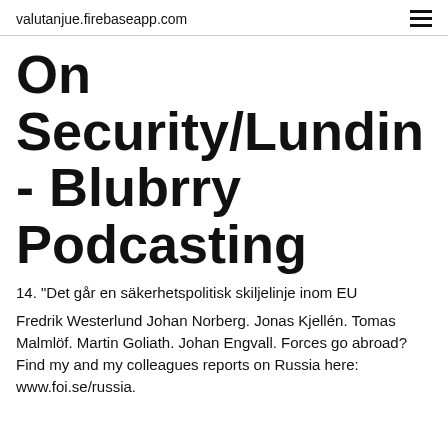valutanjue.firebaseapp.com
On Security/Lundin - Blubrry Podcasting
14. "Det går en säkerhetspolitisk skiljelinje inom EU
Fredrik Westerlund Johan Norberg. Jonas Kjellén. Tomas Malmlöf. Martin Goliath. Johan Engvall. Forces go abroad? Find my and my colleagues reports on Russia here: www.foi.se/russia.